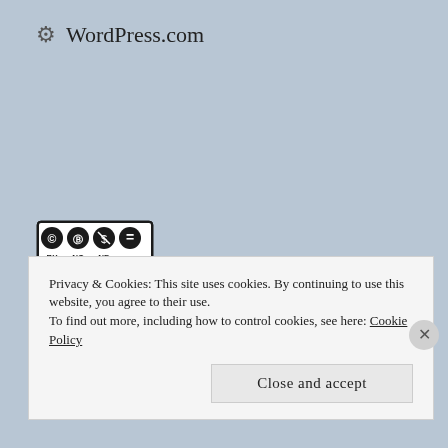⚙ WordPress.com
[Figure (logo): Creative Commons BY NC ND license badge — black border rectangle containing four circular icons: CC, BY (person), NC (dollar with slash), ND (equals sign)]
Define Don't Defend Blog by Anne Walker-Leonard is licensed under a Creative Commons Attribution-NonCommercial-NoDerivs 3.0 United States License.
Privacy & Cookies: This site uses cookies. By continuing to use this website, you agree to their use.
To find out more, including how to control cookies, see here: Cookie Policy
Close and accept